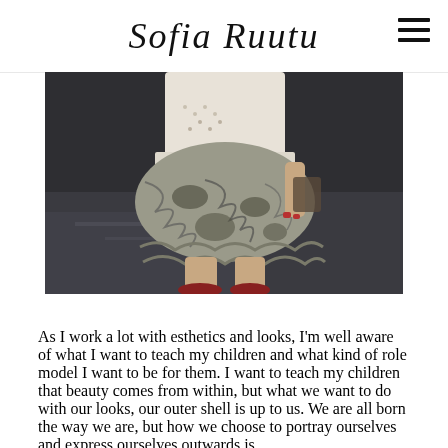Sofia Ruutu
[Figure (photo): Close-up photo from waist down of a woman wearing a white knit sweater and a dark patterned floral/animal print ruffled skirt, walking on a dark street surface. She has red nails and is holding something. Red shoes visible at bottom.]
As I work a lot with esthetics and looks, I'm well aware of what I want to teach my children and what kind of role model I want to be for them. I want to teach my children that beauty comes from within, but what we want to do with our looks, our outer shell is up to us. We are all born the way we are, but how we choose to portray ourselves and express ourselves outwards is